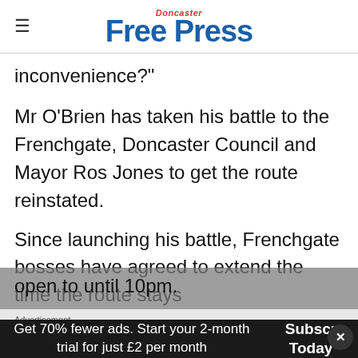Doncaster Free Press
inconvenience?"
Mr O'Brien has taken his battle to the Frenchgate, Doncaster Council and Mayor Ros Jones to get the route reinstated.
Since launching his battle, Frenchgate bosses have agreed to extend the time the route stays open to until 10pm.
Advertisement
Get 70% fewer ads. Start your 2-month trial for just £2 per month
Subscribe Today